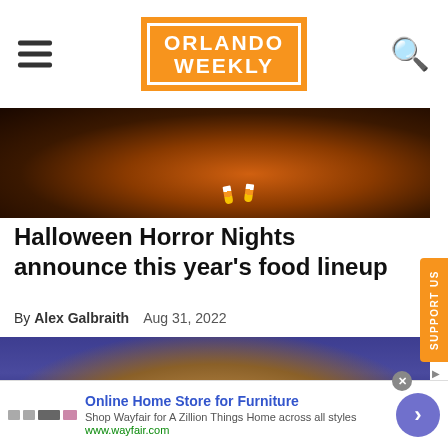Orlando Weekly
[Figure (photo): Dark Halloween-themed hero image with orange glow and candy corn decorations]
Halloween Horror Nights announce this year's food lineup
By Alex Galbraith   Aug 31, 2022
[Figure (photo): Person with blonde/brown hair against a dark blue/purple background, seen from above/behind]
Online Home Store for Furniture
Shop Wayfair for A Zillion Things Home across all styles
www.wayfair.com